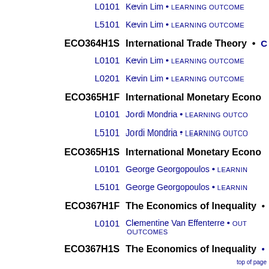ECO363H1F (continued) / L0101 — Kevin Lim • LEARNING OUTCOMES
L5101 — Kevin Lim • LEARNING OUTCOMES
ECO364H1S — International Trade Theory •
L0101 — Kevin Lim • LEARNING OUTCOMES
L0201 — Kevin Lim • LEARNING OUTCOMES
ECO365H1F — International Monetary Economics
L0101 — Jordi Mondria • LEARNING OUTCOMES
L5101 — Jordi Mondria • LEARNING OUTCOMES
ECO365H1S — International Monetary Economics
L0101 — George Georgopoulos • LEARNING OUTCOMES
L5101 — George Georgopoulos • LEARNING OUTCOMES
ECO367H1F — The Economics of Inequality
L0101 — Clementine Van Effenterre • OUTCOMES OUTCOMES
ECO367H1S — The Economics of Inequality